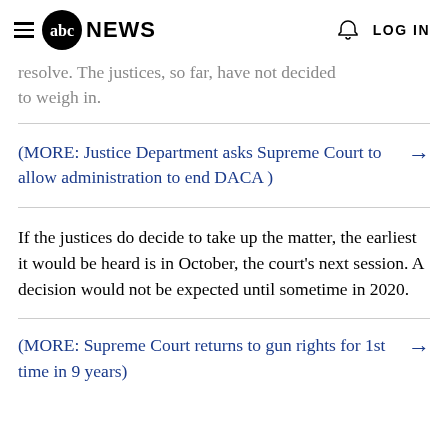≡ abcNEWS   🔔 LOG IN
resolve. The justices, so far, have not decided to weigh in.
(MORE: Justice Department asks Supreme Court to allow administration to end DACA ) →
If the justices do decide to take up the matter, the earliest it would be heard is in October, the court's next session. A decision would not be expected until sometime in 2020.
(MORE: Supreme Court returns to gun rights for 1st time in 9 years) →